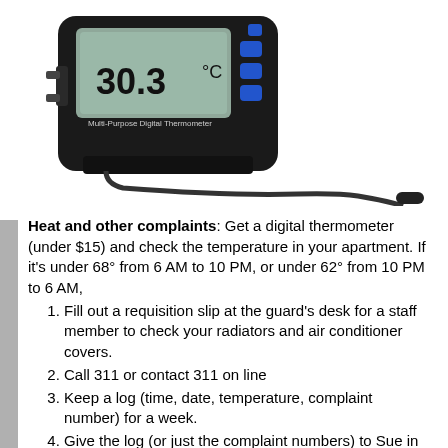[Figure (photo): A black multi-purpose digital thermometer with a probe/sensor cable, displaying '30.3°C' on its LCD screen, sitting upright on a stand. The device has blue buttons on the right side.]
Heat and other complaints: Get a digital thermometer (under $15) and check the temperature in your apartment. If it's under 68° from 6 AM to 10 PM, or under 62° from 10 PM to 6 AM,
Fill out a requisition slip at the guard's desk for a staff member to check your radiators and air conditioner covers.
Call 311 or contact 311 on line
Keep a log (time, date, temperature, complaint number) for a week.
Give the log (or just the complaint numbers) to Sue in Apt. 15T sue.susman@gmail.com. When there are 10 or more complaints, she'll contact our City Council person for faster response from the City.
For all other complaints, (heat, hot water, etc.) fill out a requisition slip so there's a written record. If you just